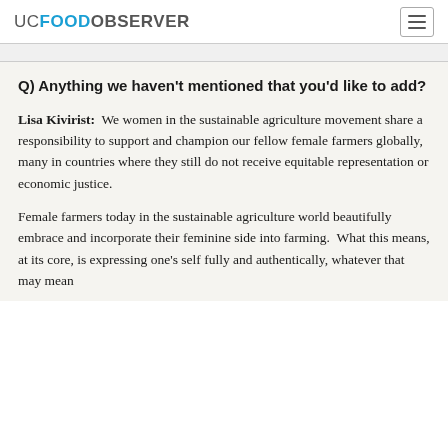UC FOOD OBSERVER
Q) Anything we haven't mentioned that you'd like to add?
Lisa Kivirist: We women in the sustainable agriculture movement share a responsibility to support and champion our fellow female farmers globally, many in countries where they still do not receive equitable representation or economic justice.
Female farmers today in the sustainable agriculture world beautifully embrace and incorporate their feminine side into farming. What this means, at its core, is expressing one's self fully and authentically, whatever that may mean